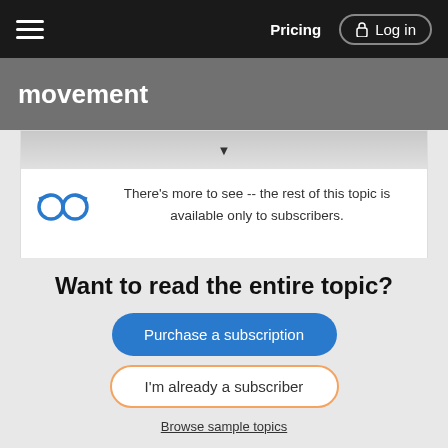Pricing  Log in
movement
There's more to see -- the rest of this topic is available only to subscribers.
Want to read the entire topic?
Purchase a subscription
I'm already a subscriber
Browse sample topics